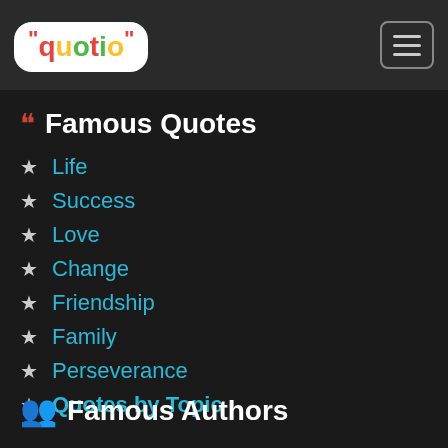quotio logo and navigation menu button
Famous Quotes
Life
Success
Love
Change
Friendship
Family
Perseverance
Quotes by Topic
Famous Authors